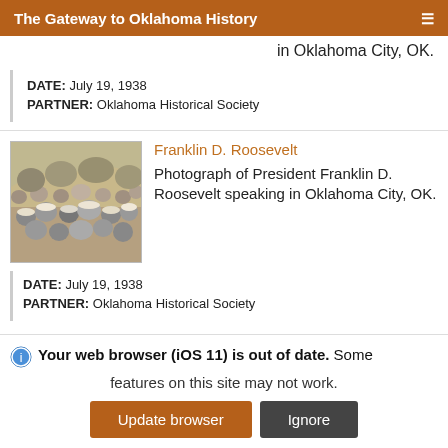The Gateway to Oklahoma History
in Oklahoma City, OK.
DATE: July 19, 1938
PARTNER: Oklahoma Historical Society
Franklin D. Roosevelt
[Figure (photo): Black and white photograph of a large crowd gathered outdoors, with people wearing hats]
Photograph of President Franklin D. Roosevelt speaking in Oklahoma City, OK.
DATE: July 19, 1938
PARTNER: Oklahoma Historical Society
Your web browser (iOS 11) is out of date. Some features on this site may not work.
Update browser
Ignore